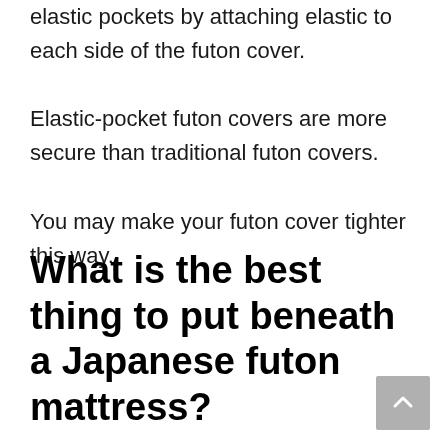elastic pockets by attaching elastic to each side of the futon cover. Elastic-pocket futon covers are more secure than traditional futon covers. You may make your futon cover tighter this way.
What is the best thing to put beneath a Japanese futon mattress?